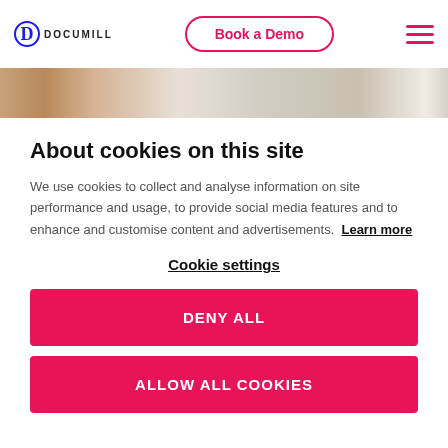Documill — Book a Demo
[Figure (photo): Partial image strip showing a blurred photo of a person or objects, dark and beige tones]
About cookies on this site
We use cookies to collect and analyse information on site performance and usage, to provide social media features and to enhance and customise content and advertisements. Learn more
Cookie settings
DENY ALL
ALLOW ALL COOKIES